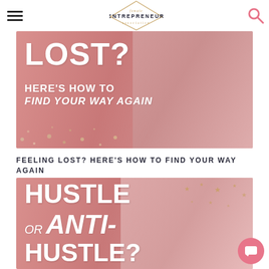female ENTREPRENEUR association
[Figure (photo): Pink banner image with text 'LOST? HERE'S HOW TO FIND YOUR WAY AGAIN' overlaid on a photo of a blonde woman in a pink blazer]
FEELING LOST? HERE'S HOW TO FIND YOUR WAY AGAIN
[Figure (photo): Pink banner image with text 'HUSTLE OR ANTI-HUSTLE?' overlaid on a photo of two women smiling, with gold star confetti]